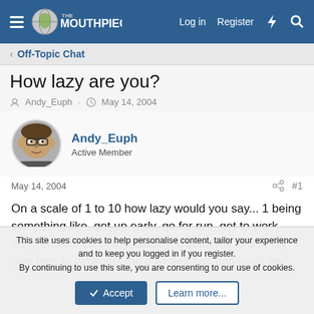The Mouthpiece - Log in  Register
< Off-Topic Chat
How lazy are you?
Andy_Euph · May 14, 2004
Andy_Euph
Active Member
May 14, 2004  #1
On a scale of 1 to 10 how lazy would you say... 1 being something like, get up early, go for run, get to work early etc and 10 being "what you want me to use my own legs to walk, get me a wheelchair and push me"
This site uses cookies to help personalise content, tailor your experience and to keep you logged in if you register.
By continuing to use this site, you are consenting to our use of cookies.